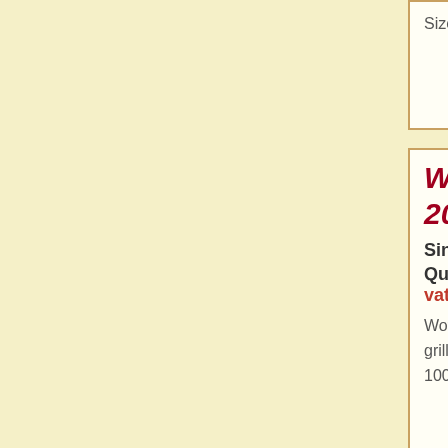Size: 2000mm x 1000mm x 1mm. Product Re...
Woven Effect Diamond White 2000mm x 1000mm x 2mm
Single Item Price: £128.00
Quantity Discounts: 2 = £121.50, 3 = £... vat)
Woven effect metal grille 10mm diamond ho... grilles, cabinet and door panel inserts, custo... 1000mm x 2mm. Product Ref. WHA-WVE-D1...
Interwoven Polished Nickel G... Made to Order
Interwoven polished nickel decorative grille. aperture of 25mm. Ideal for use in radiator c... interior screening. Product Ref. GIWS-NK/5P...
Interwoven Brass Grille - 5mm...
Quantity Discounts: Price drops with 2...